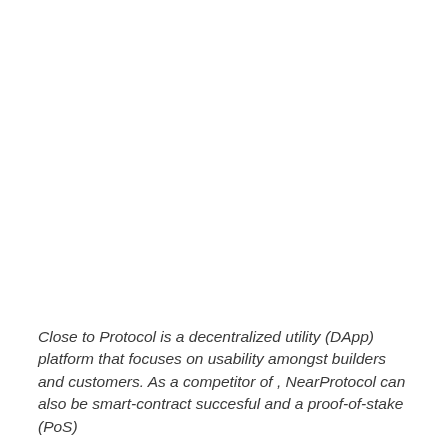Close to Protocol is a decentralized utility (DApp) platform that focuses on usability amongst builders and customers. As a competitor of , NearProtocol can also be smart-contract succesful and a proof-of-stake (PoS)